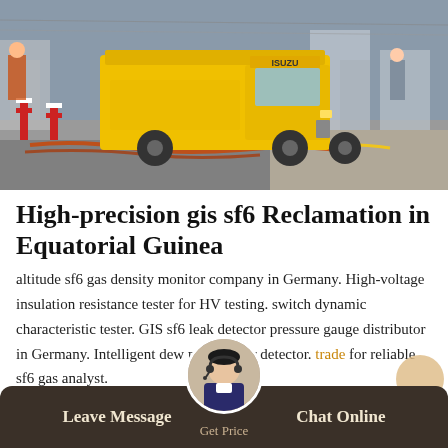[Figure (photo): A yellow truck (ISUZU) at an industrial or construction site, with red and white barriers and cables/hoses on the ground. Workers visible in background near industrial equipment.]
High-precision gis sf6 Reclamation in Equatorial Guinea
altitude sf6 gas density monitor company in Germany. High-voltage insulation resistance tester for HV testing. switch dynamic characteristic tester. GIS sf6 leak detector pressure gauge distributor in Germany. Intelligent dew point meter detector. trade for reliable sf6 gas analyst.
Leave Message   Get Price   Chat Online